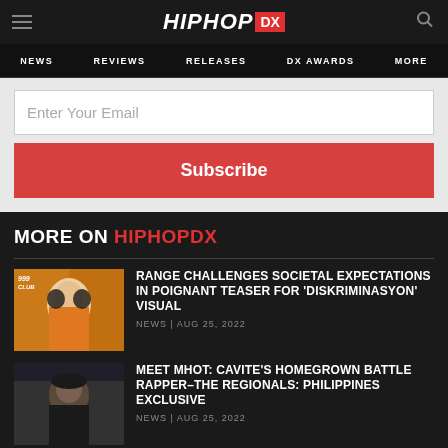HIPHOP DX
NEWS | REVIEWS | RELEASES | DX AWARDS | MORE
Enter Your Email
Subscribe
MORE ON HIPHOPDX
[Figure (photo): Thumbnail image of artist in studio with headphones, orange background, 999 Club logo]
RANGE CHALLENGES SOCIETAL EXPECTATIONS IN POIGNANT TEASER FOR 'DISKRIMINASYON' VISUAL
NEWS | AUG 25, 2022
[Figure (photo): Thumbnail image of rapper MHOT, dark background, man wearing black cap]
MEET MHOT: CAVITE'S HOMEGROWN BATTLE RAPPER–THE REGIONALS: PHILIPPINES EXCLUSIVE
NEWS | AUG 25, 2022